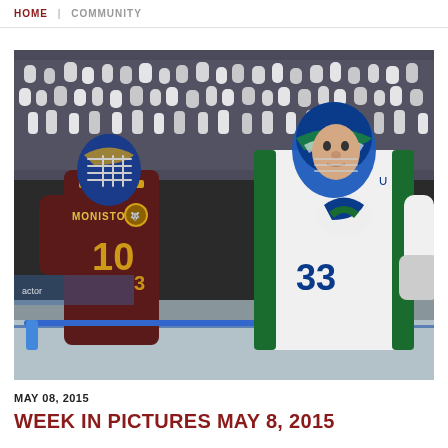HOME | COMMUNITY
[Figure (photo): Two ice hockey goalies in full equipment and helmets facing each other on the ice. The player on the left wears a maroon and gold jersey with number 10 and 3, name MONISTON on the back, holding a blue hockey stick. The player on the right wears a white jersey with number 33 and Vancouver Canucks logo. A crowd of fans in white shirts fills the background stands.]
MAY 08, 2015
WEEK IN PICTURES MAY 8, 2015